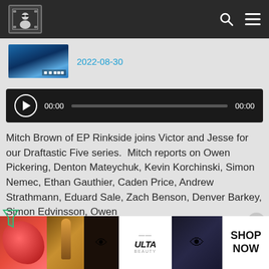[Navigation bar with logo, search icon, and menu icon]
2022-08-30
[Figure (screenshot): Audio player bar showing play button, 00:00 timestamp, progress bar, and 00:00 end time on dark background]
Mitch Brown of EP Rinkside joins Victor and Jesse for our Draftastic Five series. Mitch reports on Owen Pickering, Denton Mateychuk, Kevin Korchinski, Simon Nemec, Ethan Gauthier, Caden Price, Andrew Strathmann, Eduard Sale, Zach Benson, Denver Barkey, Simon Edvinsson, Owen Power, William Eklund, Matthew Beniers, Mason Mo... is...
[Figure (photo): ULTA Beauty advertisement banner with makeup-themed images and SHOP NOW call to action]